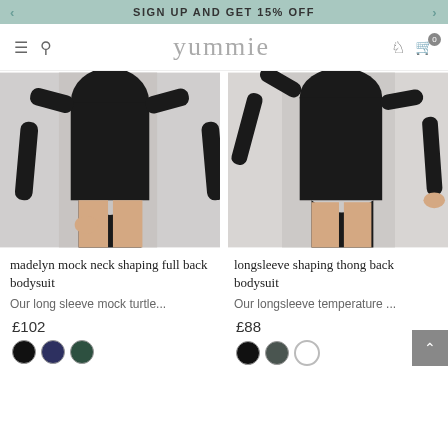SIGN UP AND GET 15% OFF
[Figure (logo): yummie brand logo in nav bar with hamburger menu, search icon, user icon, cart icon]
[Figure (photo): Model wearing black madelyn mock neck shaping full back bodysuit with long sleeves]
[Figure (photo): Model wearing black longsleeve shaping thong back bodysuit with long sleeves]
madelyn mock neck shaping full back bodysuit
longsleeve shaping thong back bodysuit
Our long sleeve mock turtle...
Our longsleeve temperature ...
£102
£88